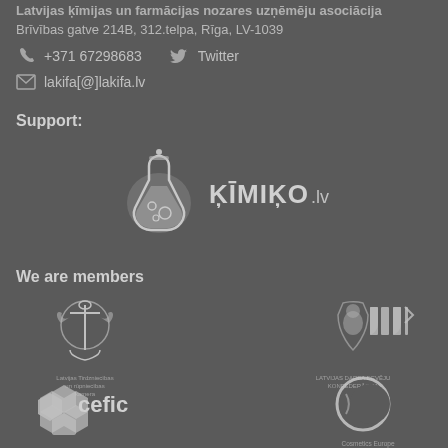Latvijas ķīmijas un farmācijas nozares uzņēmēju asociācija
Brīvības gatve 214B, 312.telpa, Rīga, LV-1039
+371 67298683    Twitter
lakifa[@]lakifa.lv
Support:
[Figure (logo): Kimiko.lv logo - flask icon with ĶĪMIĶO.lv text]
We are members
[Figure (logo): Latvijas Tirdzniecības un rūpniecības kamera logo - eagle/anchor emblem]
[Figure (logo): Latvijas Darba Devēju Konfederācija (LDDK) logo]
[Figure (logo): Cefic logo - hexagonal flower shape with cefic text]
[Figure (logo): Cosmetics Europe logo - crescent C shape]